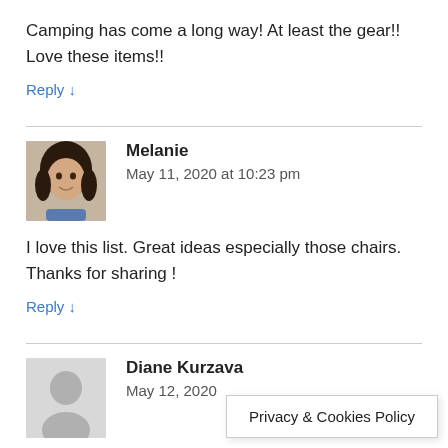Camping has come a long way! At least the gear!! Love these items!!
Reply ↓
Melanie
May 11, 2020 at 10:23 pm
I love this list. Great ideas especially those chairs. Thanks for sharing !
Reply ↓
Diane Kurzava
May 12, 2020
Privacy & Cookies Policy